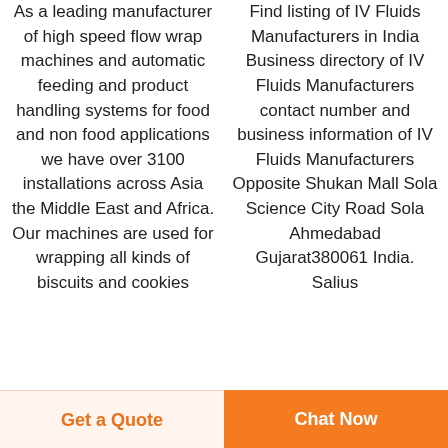As a leading manufacturer of high speed flow wrap machines and automatic feeding and product handling systems for food and non food applications we have over 3100 installations across Asia the Middle East and Africa. Our machines are used for wrapping all kinds of biscuits and cookies
Find listing of IV Fluids Manufacturers in India Business directory of IV Fluids Manufacturers contact number and business information of IV Fluids Manufacturers Opposite Shukan Mall Sola Science City Road Sola Ahmedabad Gujarat380061 India. Salius Zinco Distributors
Get a Quote
Chat Now